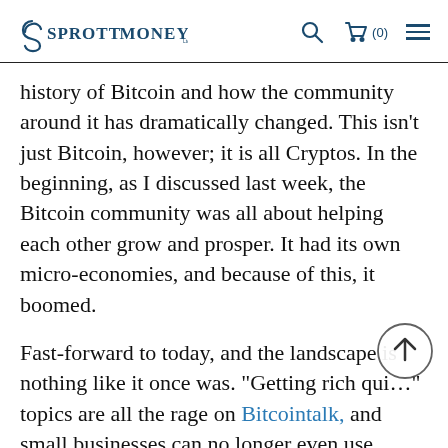SPROTT MONEY
history of Bitcoin and how the community around it has dramatically changed. This isn't just Bitcoin, however; it is all Cryptos. In the beginning, as I discussed last week, the Bitcoin community was all about helping each other grow and prosper. It had its own micro-economies, and because of this, it boomed.
Fast-forward to today, and the landscape is nothing like it once was. "Getting rich quick" topics are all the rage on Bitcointalk, and small businesses can no longer even use Bitcoin as a form of payment, due to